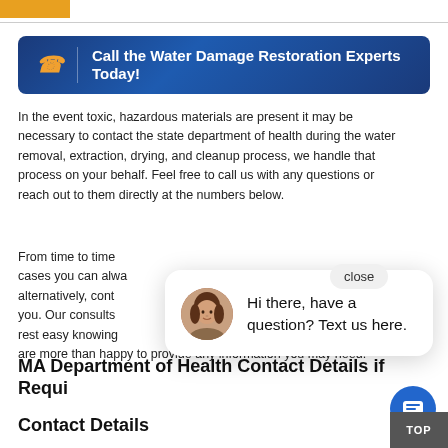[Figure (other): Yellow/orange rectangular bar at top left corner]
[Figure (other): Banner with blue gradient background, yellow phone icon, vertical divider, and bold white text: Call the Water Damage Restoration Experts Today!]
In the event toxic, hazardous materials are present it may be necessary to contact the state department of health during the water removal, extraction, drying, and cleanup process, we handle that process on your behalf. Feel free to call us with any questions or reach out to them directly at the numbers below.
From time to time cases you can alw alternatively, cont or you. Our consults n rest easy knowing e are more than happy to provide any information you may need.
[Figure (other): Chat popup overlay with circular avatar photo of a woman and text: Hi there, have a question? Text us here.]
close
MA Department of Health Contact Details if Requi
Contact Details